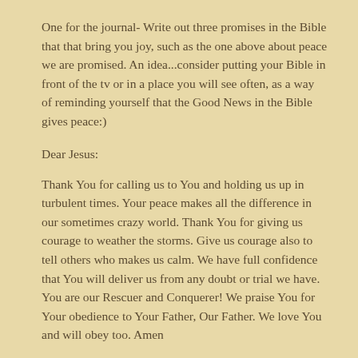One for the journal- Write out three promises in the Bible that that bring you joy, such as the one above about peace we are promised. An idea...consider putting your Bible in front of the tv or in a place you will see often, as a way of reminding yourself that the Good News in the Bible gives peace:)
Dear Jesus:
Thank You for calling us to You and holding us up in turbulent times. Your peace makes all the difference in our sometimes crazy world. Thank You for giving us courage to weather the storms. Give us courage also to tell others who makes us calm. We have full confidence that You will deliver us from any doubt or trial we have. You are our Rescuer and Conquerer! We praise You for Your obedience to Your Father, Our Father. We love You and will obey too. Amen